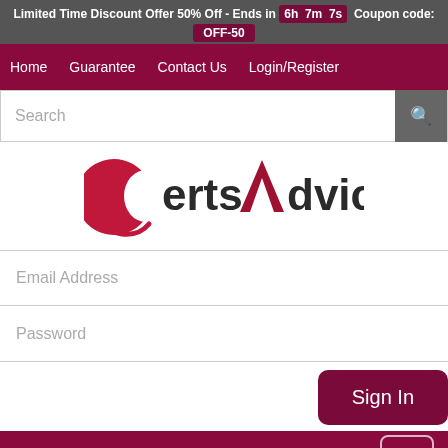Limited Time Discount Offer 50% Off - Ends in 6h 7m 7s Coupon code: OFF-50
Home  Guarantee  Contact Us  Login/Register
[Figure (logo): CertsAdvice logo with red crescent C and red arrow A]
Email Address
Password
Sign In